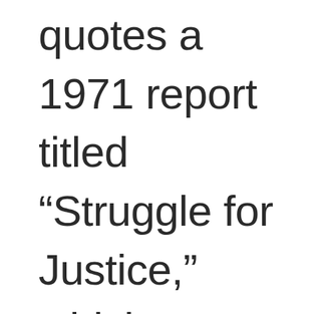quotes a 1971 report titled “Struggle for Justice,” which notes the superficial and euphemistic